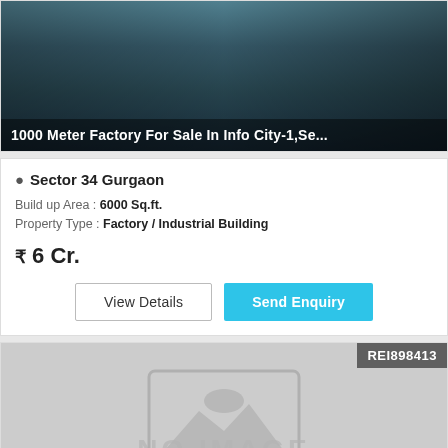[Figure (photo): Interior photo of a factory/industrial building with dark walls and floor, used as property listing image]
1000 Meter Factory For Sale In Info City-1,Se...
Sector 34 Gurgaon
Build up Area : 6000 Sq.ft.
Property Type : Factory / Industrial Building
₹ 6 Cr.
View Details
Send Enquiry
[Figure (photo): No image placeholder for second property listing]
REI898413
Industrial 1800 Meter For Sale In Sec-8,IMT M...